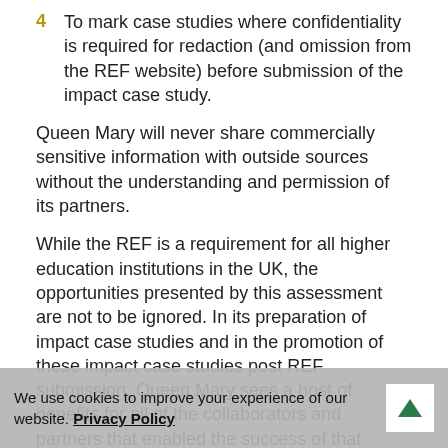4  To mark case studies where confidentiality is required for redaction (and omission from the REF website) before submission of the impact case study.
Queen Mary will never share commercially sensitive information with outside sources without the understanding and permission of its partners.
While the REF is a requirement for all higher education institutions in the UK, the opportunities presented by this assessment are not to be ignored. In its preparation of impact case studies and in the promotion of these impact case studies post REF submission, Queen Mary sees a host of benefits for all of the collaborators and partners that enabled the success of that submission:
We use cookies to improve your experience of our website. Privacy Policy